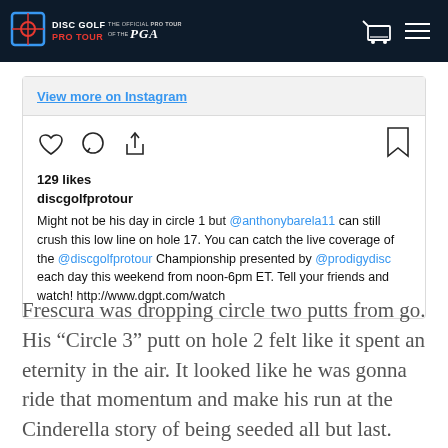[Figure (logo): Disc Golf Pro Tour navigation bar with logo, cart icon, and hamburger menu on dark navy background]
View more on Instagram
[Figure (screenshot): Instagram post action icons: heart (like), comment bubble, share arrow on left; bookmark on right]
129 likes
discgolfprotour
Might not be his day in circle 1 but @anthonybarela11 can still crush this low line on hole 17. You can catch the live coverage of the @discgolfprotour Championship presented by @prodigydisc each day this weekend from noon-6pm ET. Tell your friends and watch! http://www.dgpt.com/watch
Frescura was dropping circle two putts from go. His “Circle 3” putt on hole 2 felt like it spent an eternity in the air. It looked like he was gonna ride that momentum and make his run at the Cinderella story of being seeded all but last.